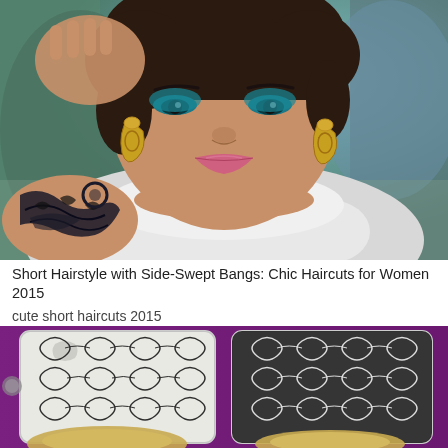[Figure (photo): Close-up photo of a woman with short dark hair, dramatic teal eye makeup, pink lipstick, gold teardrop earrings, wearing a white sheer top, and showing a tribal tattoo on her left arm/shoulder.]
Short Hairstyle with Side-Swept Bangs: Chic Haircuts for Women 2015
cute short haircuts 2015
[Figure (photo): Photo of a woman with blonde short hair in a salon setting, with black and white damask patterned background panels visible in two mirrors.]